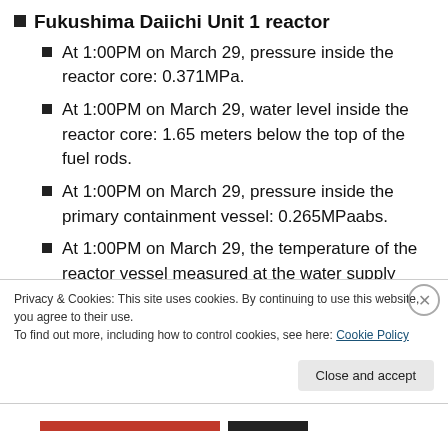Fukushima Daiichi Unit 1 reactor
At 1:00PM on March 29, pressure inside the reactor core: 0.371MPa.
At 1:00PM on March 29, water level inside the reactor core: 1.65 meters below the top of the fuel rods.
At 1:00PM on March 29, pressure inside the primary containment vessel: 0.265MPaabs.
At 1:00PM on March 29, the temperature of the reactor vessel measured at the water supply nozzle: 570.9 degrees Fahrenheit
Privacy & Cookies: This site uses cookies. By continuing to use this website, you agree to their use.
To find out more, including how to control cookies, see here: Cookie Policy